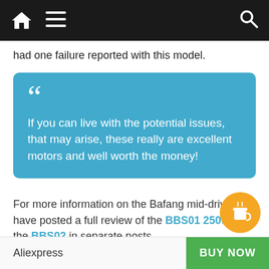Navigation bar with home, menu, and search icons
had one failure reported with this model.
If you can live with the potential issues, that may arise, these really are excellent motors and well worth the money!
For more information on the Bafang mid-drive kit, I have posted a full review of the BBS01 250w and the BBS02 in separate posts.
👉 Shop for the Bafang BBS02B 750w in your region 👈
Aliexpress  BUY NOW